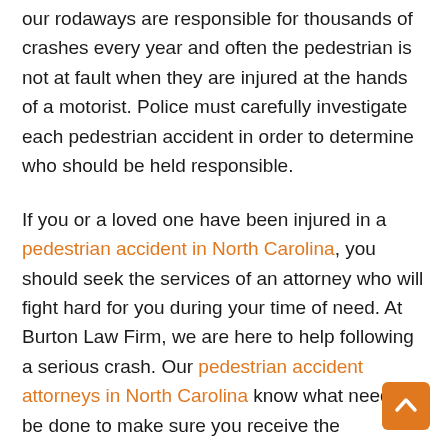our rodaways are responsible for thousands of crashes every year and often the pedestrian is not at fault when they are injured at the hands of a motorist. Police must carefully investigate each pedestrian accident in order to determine who should be held responsible.
If you or a loved one have been injured in a pedestrian accident in North Carolina, you should seek the services of an attorney who will fight hard for you during your time of need. At Burton Law Firm, we are here to help following a serious crash. Our pedestrian accident attorneys in North Carolina know what needs to be done to make sure you receive the compensation that you deserve during this difficult time. While no amount of money can replace the loss of a loved one, your settlement can help you when you